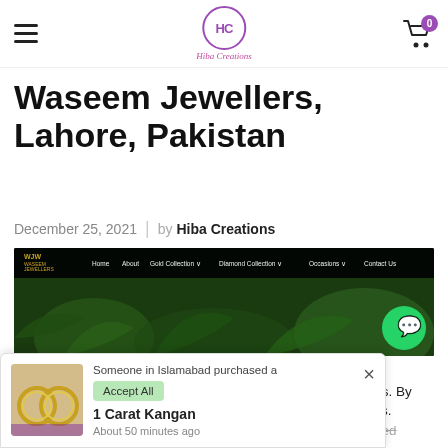HC Hiba Creations [hamburger menu] [cart 0]
Waseem Jewellers, Lahore, Pakistan
December 25, 2021 | by Hiba Creations
[Figure (screenshot): Screenshot of Waseem Jewellers website showing navigation bar (Home, About, Gold Collection, Diamond Collection, Occasions, Contact Us) with dark green plant background and WhatsApp green button bubble on right]
We use cookies on our website to give you the most relevant experience by remembering your preferences and repeat visits. By clicking “Accept All”, you consent to the use of ALL the cookies. However, you may visit "Cookie Settings" to provide a controlled consent.
Someone in Islamabad purchased a
1 Carat Kangan
About 50 minutes ago